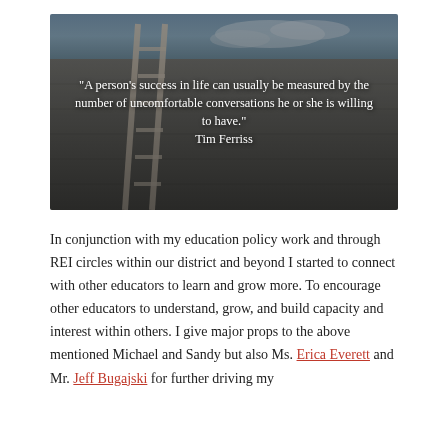[Figure (photo): A photo of a ladder leaning against a concrete wall with an overcast sky, overlaid with a white quote text: '"A person's success in life can usually be measured by the number of uncomfortable conversations he or she is willing to have." Tim Ferriss']
In conjunction with my education policy work and through REI circles within our district and beyond I started to connect with other educators to learn and grow more. To encourage other educators to understand, grow, and build capacity and interest within others. I give major props to the above mentioned Michael and Sandy but also Ms. Erica Everett and Mr. Jeff Bugajski for further driving my